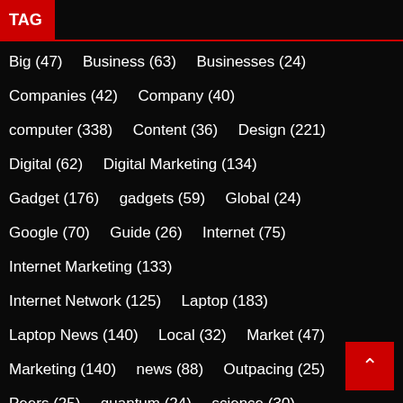TAG
Big (47)
Business (63)
Businesses (24)
Companies (42)
Company (40)
computer (338)
Content (36)
Design (221)
Digital (62)
Digital Marketing (134)
Gadget (176)
gadgets (59)
Global (24)
Google (70)
Guide (26)
Internet (75)
Internet Marketing (133)
Internet Network (125)
Laptop (183)
Laptop News (140)
Local (32)
Market (47)
Marketing (140)
news (88)
Outpacing (25)
Peers (25)
quantum (24)
science (30)